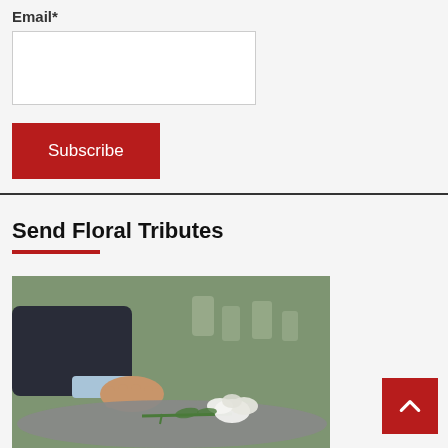Email*
[email input field]
Subscribe
Send Floral Tributes
[Figure (photo): A person in a dark suit placing a white rose on a gravestone, with a blurred cemetery background]